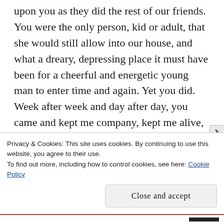upon you as they did the rest of our friends. You were the only person, kid or adult, that she would still allow into our house, and what a dreary, depressing place it must have been for a cheerful and energetic young man to enter time and again. Yet you did. Week after week and day after day, you came and kept me company, kept me alive, kept me sane. You perhaps can't imagine how much I looked forward to your visits, or how often I've wondered what impelled you to make them. Or how hard it hit me when they finally came to an end, when even your most good-natured
Privacy & Cookies: This site uses cookies. By continuing to use this website, you agree to their use.
To find out more, including how to control cookies, see here: Cookie Policy

Close and accept